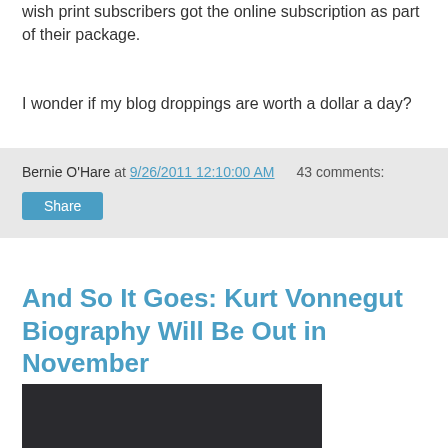wish print subscribers got the online subscription as part of their package.
I wonder if my blog droppings are worth a dollar a day?
Bernie O'Hare at 9/26/2011 12:10:00 AM   43 comments:
Share
And So It Goes: Kurt Vonnegut Biography Will Be Out in November
[Figure (screenshot): Embedded video player showing 'Video unavailable / This video is unavailable' message on a dark background]